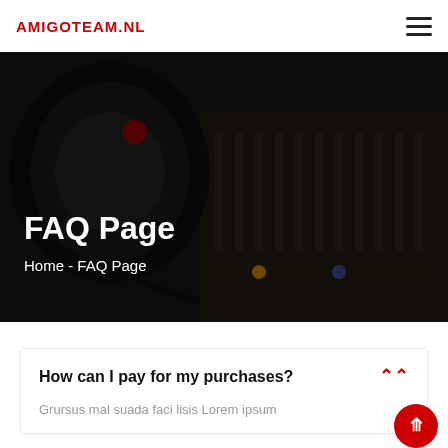AMIGOTEAM.NL
[Figure (photo): Dark background photo of audio mixing equipment — headphones and mixing board/faders — with dark overlay. Shows 'FAQ Page' title and 'Home - FAQ Page' breadcrumb text overlaid in white.]
FAQ Page
Home - FAQ Page
How can I pay for my purchases?
Grursus mal suada faci lisis Lorem ipsum